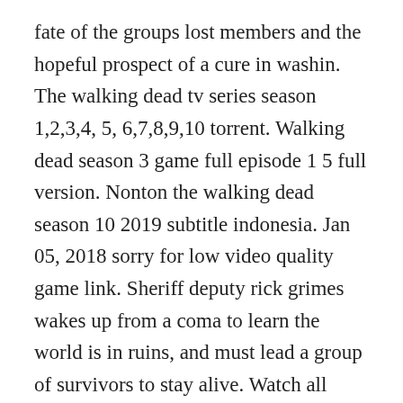fate of the groups lost members and the hopeful prospect of a cure in washin. The walking dead tv series season 1,2,3,4, 5, 6,7,8,9,10 torrent. Walking dead season 3 game full episode 1 5 full version. Nonton the walking dead season 10 2019 subtitle indonesia. Jan 05, 2018 sorry for low video quality game link. Sheriff deputy rick grimes wakes up from a coma to learn the world is in ruins, and must lead a group of survivors to stay alive. Watch all season of the walking dead tv show online in high quality and small size with english subtitle online the O...